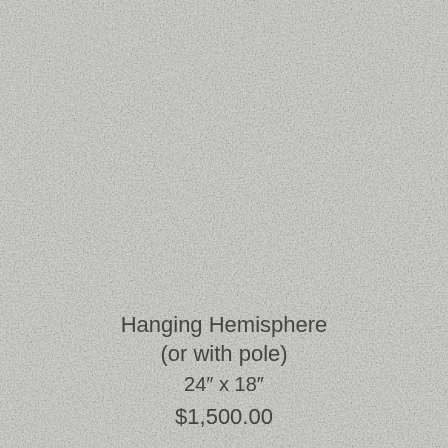$3,500.00
[Figure (photo): Close-up photograph of white/light grey linen or fabric textile with visible woven texture]
Hanging Hemisphere
(or with pole)
24″ x 18″
$1,500.00